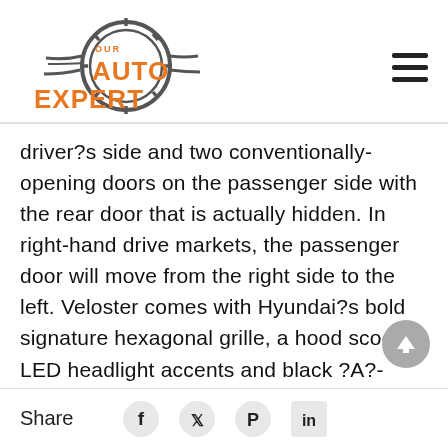[Figure (logo): Our Auto Expert logo with orange text and circular gear/tire graphic]
driver?s side and two conventionally-opening doors on the passenger side with the rear door that is actually hidden. In right-hand drive markets, the passenger door will move from the right side to the left. Veloster comes with Hyundai?s bold signature hexagonal grille, a hood scoop, LED headlight accents and black ?A?-
Share